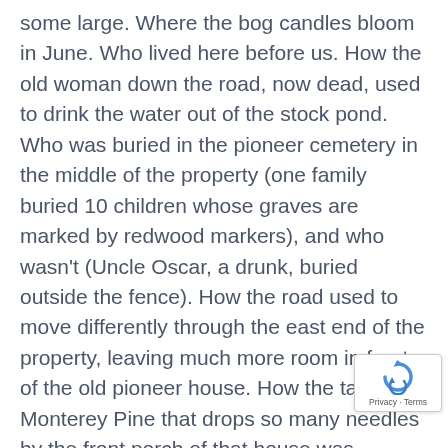some large. Where the bog candles bloom in June. Who lived here before us. How the old woman down the road, now dead, used to drink the water out of the stock pond. Who was buried in the pioneer cemetery in the middle of the property (one family buried 10 children whose graves are marked by redwood markers), and who wasn't (Uncle Oscar, a drunk, buried outside the fence). How the road used to move differently through the east end of the property, leaving much more room in front of the old pioneer house. How the tall Monterey Pine that drops so many needles by the front porch of that house was planted the day the owner's daughter was born. The coastal oak by the creek that kept my then 16 year old son from rolling the car when he sped down the long slippery driveway within the first week he had his license. The speck of blue canvas still hanging in tree along the vineyard left from the small tornad that also impaled a rowboat on a grape trellis and
[Figure (other): reCAPTCHA widget with circular arrow icon in blue, showing Privacy and Terms links below]